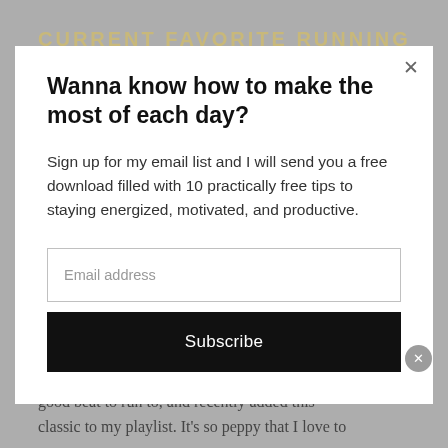CURRENT FAVORITE RUNNING
Wanna know how to make the most of each day?
Sign up for my email list and I will send you a free download filled with 10 practically free tips to staying energized, motivated, and productive.
Email address
Subscribe
good beat to run to, and recently added this classic to my playlist. It's so peppy that I love to